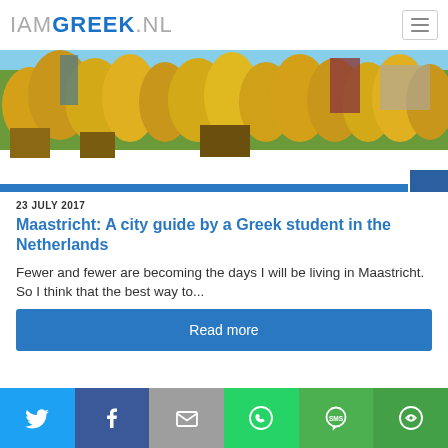IAMGREEK.NL
[Figure (photo): Aerial view of Maastricht city with autumn yellow trees and city buildings in the background]
23 JULY 2017
Maastricht: A city guide by a Greek student in the Netherlands
Fewer and fewer are becoming the days I will be living in Maastricht. So I think that the best way to...
Read more
Twitter | Facebook | Email | WhatsApp | SMS | More